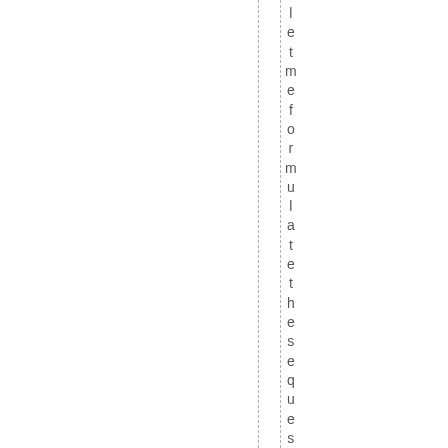let me formulate the sequence: 1